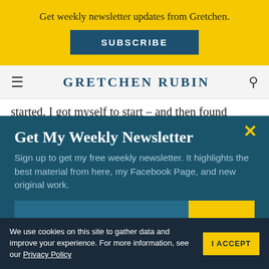Get weekly newsletter updates from Gretchen.
SUBSCRIBE
GRETCHEN RUBIN
started. I got myself to start – and then found
Get My Weekly Newsletter
Sign up to get my free weekly newsletter. It highlights the best material from here, my Facebook Page, and new original work.
We use cookies on this site to gather data and improve your experience. For more information, see our Privacy Policy
I ACCEPT